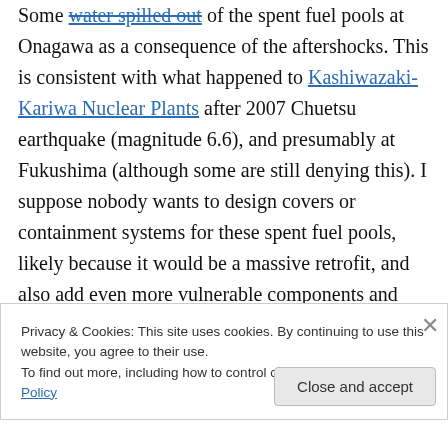Some water spilled out of the spent fuel pools at Onagawa as a consequence of the aftershocks. This is consistent with what happened to Kashiwazaki-Kariwa Nuclear Plants after 2007 Chuetsu earthquake (magnitude 6.6), and presumably at Fukushima (although some are still denying this). I suppose nobody wants to design covers or containment systems for these spent fuel pools, likely because it would be a massive retrofit, and also add even more vulnerable components and safety systems to
Privacy & Cookies: This site uses cookies. By continuing to use this website, you agree to their use.
To find out more, including how to control cookies, see here: Cookie Policy